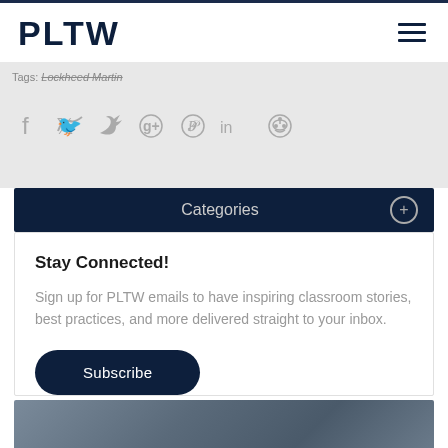PLTW
Tags: Lockheed Martin
[Figure (infographic): Social media share icons: Facebook, Twitter, Google+, Pinterest, LinkedIn, Reddit in gray]
Categories
Stay Connected!
Sign up for PLTW emails to have inspiring classroom stories, best practices, and more delivered straight to your inbox.
Subscribe
[Figure (photo): Partial photo visible at bottom of page]